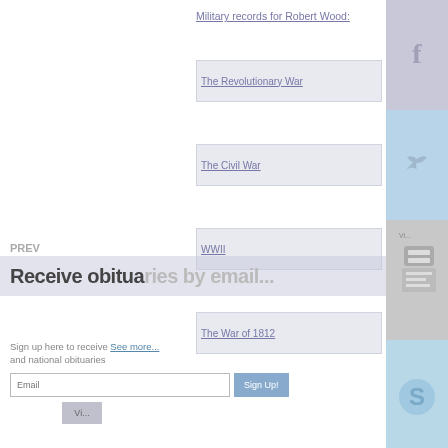Military records for Robert Wood:
The Revolutionary War
The Civil War
WWII
PREV
Receive obituaries by email...
The War of 1812
See more...
Sign up here to receive and national obituaries
Email
Sign Up!